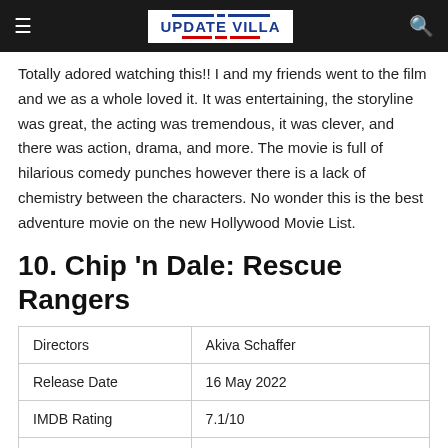UPDATE VILLA
Totally adored watching this!! I and my friends went to the film and we as a whole loved it. It was entertaining, the storyline was great, the acting was tremendous, it was clever, and there was action, drama, and more. The movie is full of hilarious comedy punches however there is a lack of chemistry between the characters. No wonder this is the best adventure movie on the new Hollywood Movie List.
10. Chip 'n Dale: Rescue Rangers
|  |  |
| --- | --- |
| Directors | Akiva Schaffer |
| Release Date | 16 May 2022 |
| IMDB Rating | 7.1/10 |
| Where To Watch | Amazon Prime Videos |